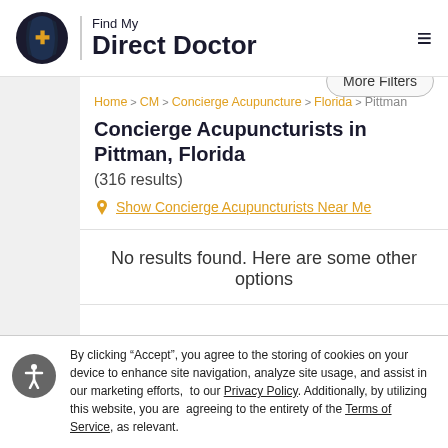[Figure (logo): Find My Direct Doctor logo with dark navy shield/leaf icon with gold plus symbol, vertical divider, and bold text 'Find My Direct Doctor']
Home > CM > Concierge Acupuncture > Florida > Pittman
Concierge Acupuncturists in Pittman, Florida
(316 results)
Show Concierge Acupuncturists Near Me
No results found. Here are some other options
By clicking “Accept”, you agree to the storing of cookies on your device to enhance site navigation, analyze site usage, and assist in our marketing efforts, to our Privacy Policy. Additionally, by utilizing this website, you are agreeing to the entirety of the Terms of Service, as relevant.